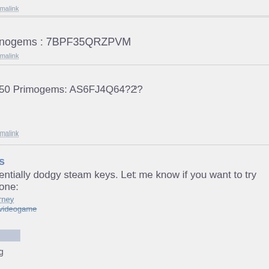rmalink
nogems : 7BPF35QRZPVM
rmalink
50 Primogems: AS6FJ4Q64?2?
rmalink
s
entially dodgy steam keys. Let me know if you want to try one:
rney
videogame
g